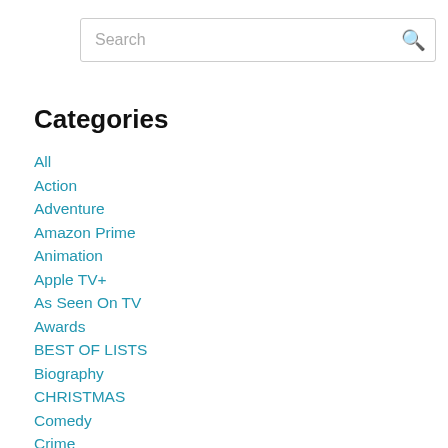Search
Categories
All
Action
Adventure
Amazon Prime
Animation
Apple TV+
As Seen On TV
Awards
BEST OF LISTS
Biography
CHRISTMAS
Comedy
Crime
Dance
Disney+